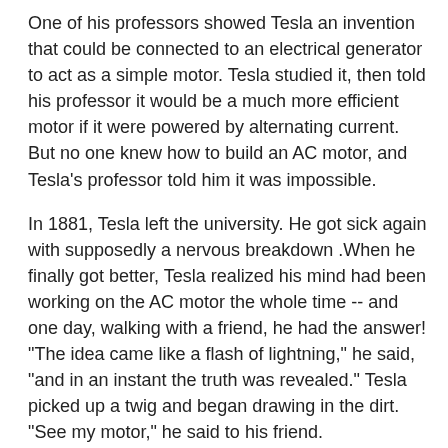One of his professors showed Tesla an invention that could be connected to an electrical generator to act as a simple motor. Tesla studied it, then told his professor it would be a much more efficient motor if it were powered by alternating current. But no one knew how to build an AC motor, and Tesla's professor told him it was impossible.
In 1881, Tesla left the university. He got sick again with supposedly a nervous breakdown .When he finally got better, Tesla realized his mind had been working on the AC motor the whole time -- and one day, walking with a friend, he had the answer! "The idea came like a flash of lightning," he said, "and in an instant the truth was revealed." Tesla picked up a twig and began drawing in the dirt. "See my motor," he said to his friend.
Tesla had a vivid imagination and an intuitive way of developing scientific hypotheses. After seeing a demonstration of the "Gramme dynamo" (a machine that when operated in one direction is a generator, and when reversed is an electric motor), Tesla visualized a rotating magnetic field and developed plans for an induction motor